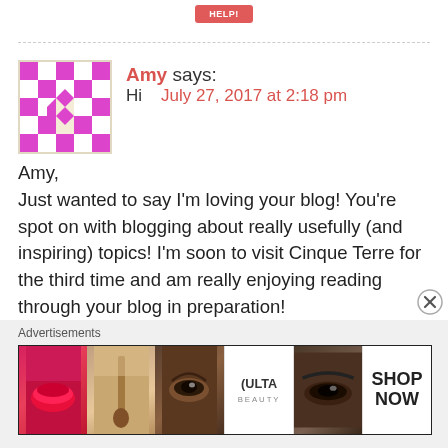[Figure (other): Red/coral button at top center, partial visibility]
Amy says:
Hi   July 27, 2017 at 2:18 pm
Amy,
Just wanted to say I'm loving your blog! You're spot on with blogging about really usefully (and inspiring) topics! I'm soon to visit Cinque Terre for the third time and am really enjoying reading through your blog in preparation!
Cheers!
[Figure (other): Advertisements banner with beauty/makeup images and ULTA logo]
Advertisements